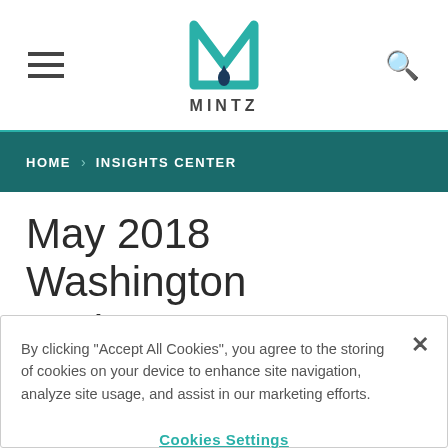MINTZ
HOME > INSIGHTS CENTER
May 2018 Washington Update
By clicking "Accept All Cookies", you agree to the storing of cookies on your device to enhance site navigation, analyze site usage, and assist in our marketing efforts.
Cookies Settings
Reject All